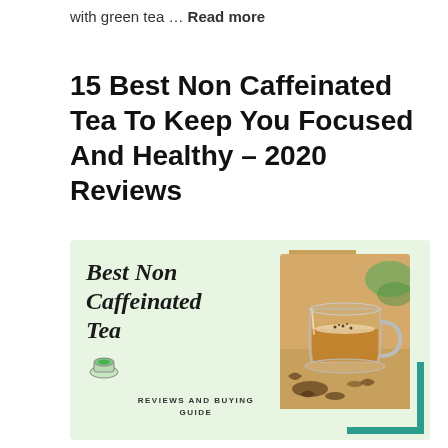with green tea … Read more
15 Best Non Caffeinated Tea To Keep You Focused And Healthy – 2020 Reviews
[Figure (illustration): Promotional graphic for 'Best Non Caffeinated Tea' with cursive handwritten-style text on a light green background, decorative gold and teal corner brackets, a photo of a glass cup of tea with loose tea leaves, a small tea candle icon, and text reading 'REVIEWS AND BUYING GUIDE']